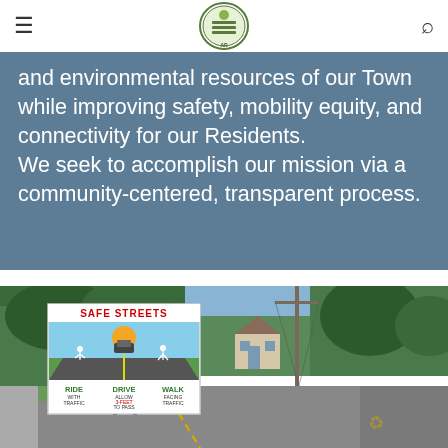Navigation header with hamburger menu, town logo, and search icon
and environmental resources of our Town while improving safety, mobility equity, and connectivity for our Residents. We seek to accomplish our mission via a community-centered, transparent process.
[Figure (photo): A Safe Streets yard sign reading 'SAFE STREETS' at the top in red, with a graphic showing a car, bicycle rider, and pedestrian on a road with a yellow center line. Below are three columns: RIDE WITH TRAFFIC, DRIVE ALLOW 3-FEET TO PASS, WALK FACING TRAFFIC. Sign is placed on grass next to a suburban road with trees and a house in the background.]